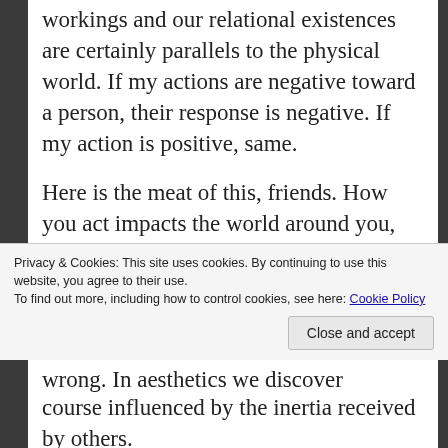workings and our relational existences are certainly parallels to the physical world. If my actions are negative toward a person, their response is negative. If my action is positive, same.
Here is the meat of this, friends. How you act impacts the world around you, which impacts you back. There are naturals laws to how this thing clicks along. In religion we find good vs. evil. In ethical philosophy we state right vs. wrong. In aesthetics we discover harmony vs. dissonance. In physics we encounter chaos vs. order.
I believe that this is the core of what makes us
Privacy & Cookies: This site uses cookies. By continuing to use this website, you agree to their use.
To find out more, including how to control cookies, see here: Cookie Policy
Close and accept
course influenced by the inertia received by others.